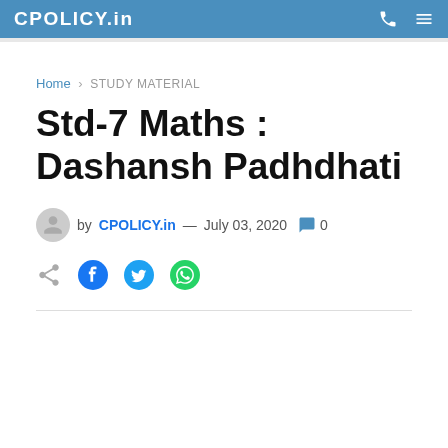CPOLICY.in
Home › STUDY MATERIAL
Std-7 Maths : Dashansh Padhdhati
by CPOLICY.in — July 03, 2020  0
[Figure (other): Social share icons: forward/share arrow, Facebook icon (blue), Twitter bird icon (blue), WhatsApp icon (green)]